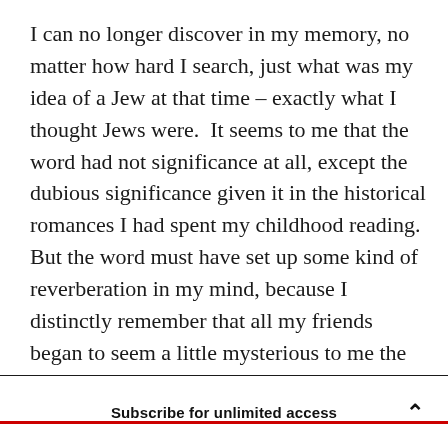I can no longer discover in my memory, no matter how hard I search, just what was my idea of a Jew at that time – exactly what I thought Jews were. It seems to me that the word had not significance at all, except the dubious significance given it in the historical romances I had spent my childhood reading. But the word must have set up some kind of reverberation in my mind, because I distinctly remember that all my friends began to seem a little mysterious to me the moment I knew they were Jewish.

The ideas that Jews are 'Oriental,' that they deal in
Subscribe for unlimited access